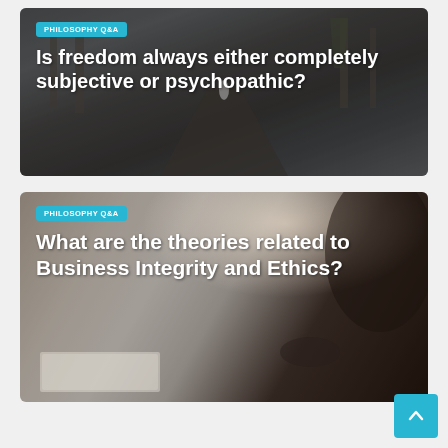[Figure (photo): Card 1: Dark road/winter scene with trees, overlaid with tag 'PHILOSOPHY Q&A' and title 'Is freedom always either completely subjective or psychopathic?']
[Figure (photo): Card 2: Person reading a book, blurred/warm tones, overlaid with tag 'PHILOSOPHY Q&A' and title 'What are the theories related to Business Integrity and Ethics?']